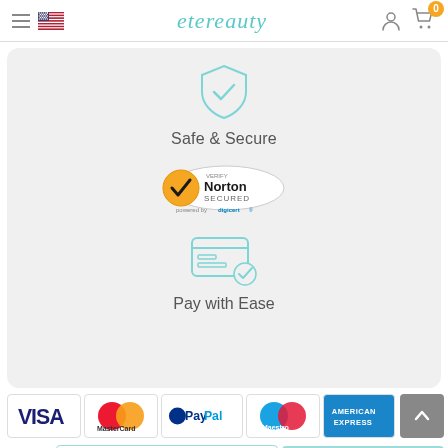etereauty
[Figure (logo): Shield with checkmark icon (teal outline)]
Safe & Secure
[Figure (logo): Norton Secured powered by digicert badge]
[Figure (illustration): Credit card with checkmark icon (teal outline)]
Pay with Ease
[Figure (logo): Payment logos: VISA, MasterCard, PayPal, Maestro, American Express]
Add to Cart
Buy Now